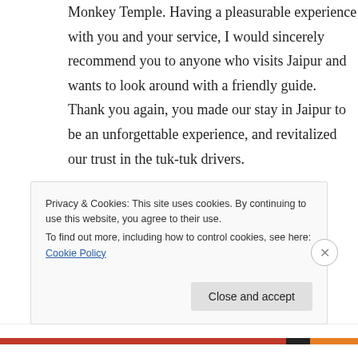Monkey Temple. Having a pleasurable experience with you and your service, I would sincerely recommend you to anyone who visits Jaipur and wants to look around with a friendly guide.
Thank you again, you made our stay in Jaipur to be an unforgettable experience, and revitalized our trust in the tuk-tuk drivers.

Best regards,

Attila and Fabiola from Hungary
Privacy & Cookies: This site uses cookies. By continuing to use this website, you agree to their use.
To find out more, including how to control cookies, see here: Cookie Policy